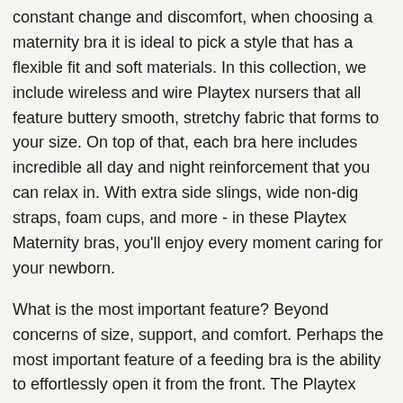constant change and discomfort, when choosing a maternity bra it is ideal to pick a style that has a flexible fit and soft materials. In this collection, we include wireless and wire Playtex nursers that all feature buttery smooth, stretchy fabric that forms to your size. On top of that, each bra here includes incredible all day and night reinforcement that you can relax in. With extra side slings, wide non-dig straps, foam cups, and more - in these Playtex Maternity bras, you'll enjoy every moment caring for your newborn.
What is the most important feature? Beyond concerns of size, support, and comfort. Perhaps the most important feature of a feeding bra is the ability to effortlessly open it from the front. The Playtex bras all feature Quickstrap clips located above each cup. When it is time to feed, simply